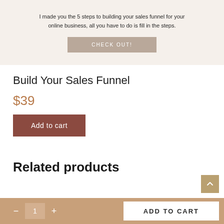[Figure (screenshot): Hero banner with beige/cream background containing centered text and a 'CHECK OUT!' button]
I made you the 5 steps to building your sales funnel for your online business, all you have to do is fill in the steps.
Build Your Sales Funnel
$39
Add to cart
Related products
- 1 + ADD TO CART